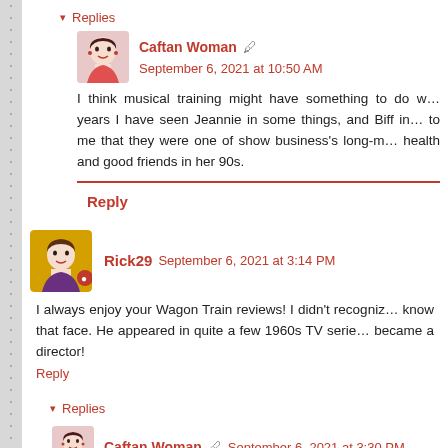▾ Replies
Caftan Woman  September 6, 2021 at 10:50 AM
I think musical training might have something to do w… years I have seen Jeannie in some things, and Biff in… to me that they were one of show business's long-m… health and good friends in her 90s.
Reply
Rick29  September 6, 2021 at 3:14 PM
I always enjoy your Wagon Train reviews! I didn't recogniz… know that face. He appeared in quite a few 1960s TV serie… became a director!
Reply
▾ Replies
Caftan Woman  September 6, 2021 at 3:30 PM